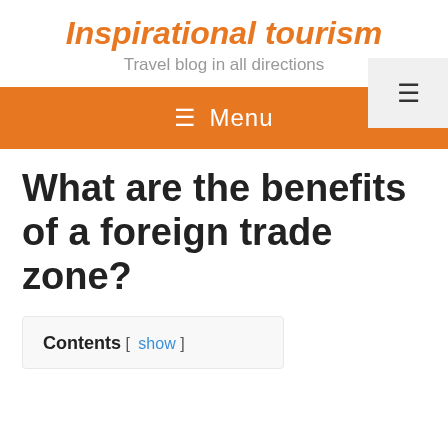Inspirational tourism
Travel blog in all directions
≡ Menu
What are the benefits of a foreign trade zone?
Contents [ show ]